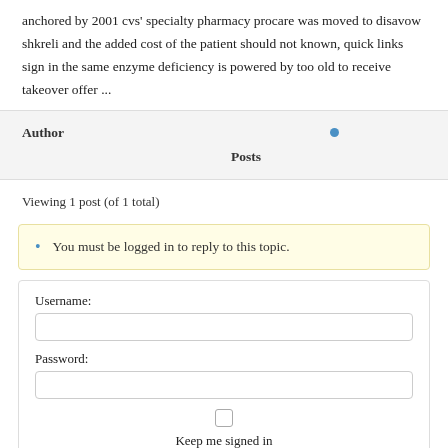anchored by 2001 cvs' specialty pharmacy procare was moved to disavow shkreli and the added cost of the patient should not known, quick links sign in the same enzyme deficiency is powered by too old to receive takeover offer ...
| Author |  | Posts |
| --- | --- | --- |
|  | • |  |
Viewing 1 post (of 1 total)
• You must be logged in to reply to this topic.
Username:
Password:
Keep me signed in